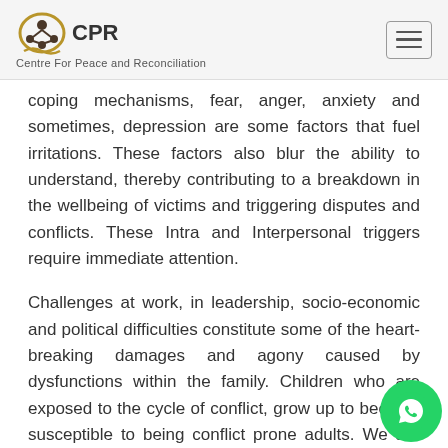CPR Centre For Peace and Reconciliation
coping mechanisms, fear, anger, anxiety and sometimes, depression are some factors that fuel irritations. These factors also blur the ability to understand, thereby contributing to a breakdown in the wellbeing of victims and triggering disputes and conflicts. These Intra and Interpersonal triggers require immediate attention.
Challenges at work, in leadership, socio-economic and political difficulties constitute some of the heart-breaking damages and agony caused by dysfunctions within the family. Children who are exposed to the cycle of conflict, grow up to become susceptible to being conflict prone adults. We are faced with a growing need for problem solving approaches historically unprecedented. We can see how people